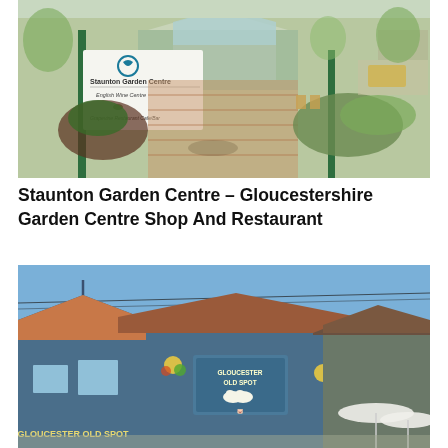[Figure (photo): Exterior of Staunton Garden Centre showing entrance pathway with brick paving, green signpost with Staunton Garden Centre / English Wine Centre / Grapevine Restaurant Cafe/Bar sign, ornamental shrubs, and a glass-roofed building in the background. Cars visible in car park on right.]
Staunton Garden Centre – Gloucestershire Garden Centre Shop And Restaurant
[Figure (photo): Exterior of the Gloucester Old Spot pub/restaurant, a blue-painted building with terracotta roof tiles, hanging flower baskets, a sign reading 'Gloucester Old Spot' with a pig logo, and white parasols visible on the right.]